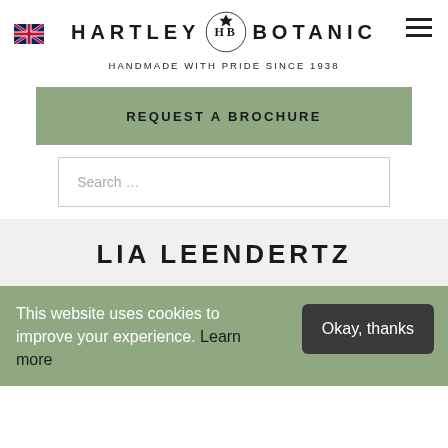[Figure (logo): Hartley Botanic logo with crest emblem, brand name in uppercase letters HARTLEY BOTANIC, and UK flag icon in top left corner, hamburger menu icon top right]
HANDMADE WITH PRIDE SINCE 1938
REQUEST A BROCHURE
Search ...
LIA LEENDERTZ
This website uses cookies to improve your experience. Learn more
Okay, thanks